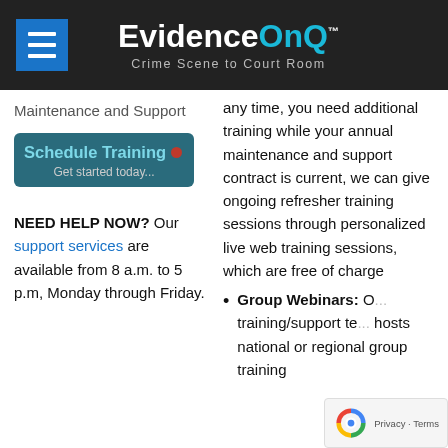[Figure (logo): EvidenceOnQ logo with menu button on dark header bar. Text: EvidenceOnQ™ Crime Scene to Court Room]
Maintenance and Support
[Figure (other): Schedule Training button - Get started today...]
NEED HELP NOW? Our support services are available from 8 a.m. to 5 p.m, Monday through Friday.
any time, you need additional training while your annual maintenance and support contract is current, we can give ongoing refresher training sessions through personalized live web training sessions, which are free of charge
Group Webinars: Our training/support team hosts national or regional group training